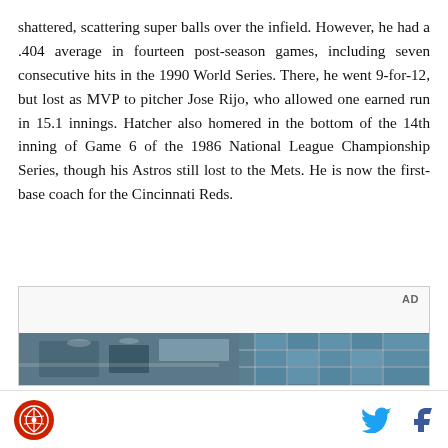shattered, scattering super balls over the infield. However, he had a .404 average in fourteen post-season games, including seven consecutive hits in the 1990 World Series. There, he went 9-for-12, but lost as MVP to pitcher Jose Rijo, who allowed one earned run in 15.1 innings. Hatcher also homered in the bottom of the 14th inning of Game 6 of the 1986 National League Championship Series, though his Astros still lost to the Mets. He is now the first-base coach for the Cincinnati Reds.
[Figure (photo): Advertisement placeholder box with 'AD' label and a partial photo of an interior space with ceiling lights and grid windows at the bottom]